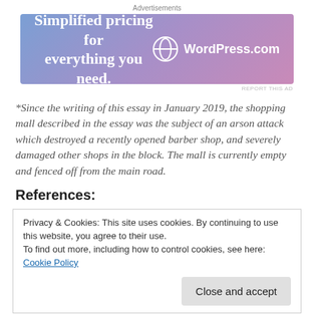Advertisements
[Figure (illustration): WordPress.com advertisement banner with gradient background (blue to pink). Text: 'Simplified pricing for everything you need.' with WordPress.com logo on the right.]
REPORT THIS AD
*Since the writing of this essay in January 2019, the shopping mall described in the essay was the subject of an arson attack which destroyed a recently opened barber shop, and severely damaged other shops in the block. The mall is currently empty and fenced off from the main road.
References:
Privacy & Cookies: This site uses cookies. By continuing to use this website, you agree to their use.
To find out more, including how to control cookies, see here: Cookie Policy
Close and accept
British-Australian Film Commission